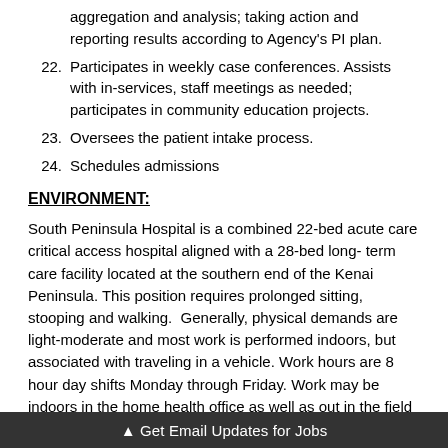aggregation and analysis; taking action and reporting results according to Agency's PI plan.
22. Participates in weekly case conferences. Assists with in-services, staff meetings as needed; participates in community education projects.
23. Oversees the patient intake process.
24. Schedules admissions
ENVIRONMENT:
South Peninsula Hospital is a combined 22-bed acute care critical access hospital aligned with a 28-bed long- term care facility located at the southern end of the Kenai Peninsula. This position requires prolonged sitting, stooping and walking.  Generally, physical demands are light-moderate and most work is performed indoors, but associated with traveling in a vehicle. Work hours are 8 hour day shifts Monday through Friday. Work may be indoors in the home health office as well as out in the field as needed.
▲ Get Email Updates for Jobs